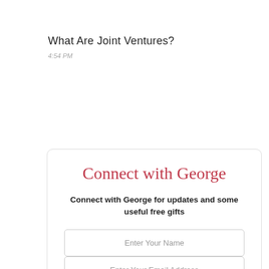What Are Joint Ventures?
4:54 PM
Connect with George
Connect with George for updates and some useful free gifts
Enter Your Name
Enter Your Email Address